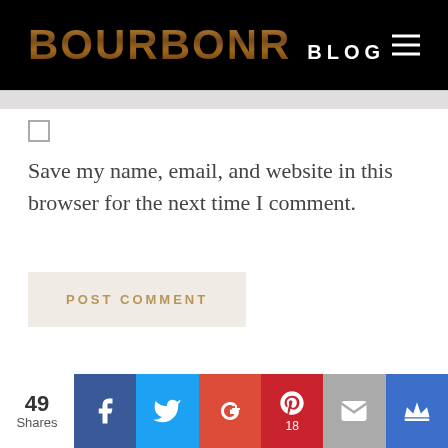BOURBONR BLOG
Save my name, email, and website in this browser for the next time I comment.
POST COMMENT
49 Shares — social share icons: Facebook, Twitter, Google+, Pinterest (18), Email, Crown